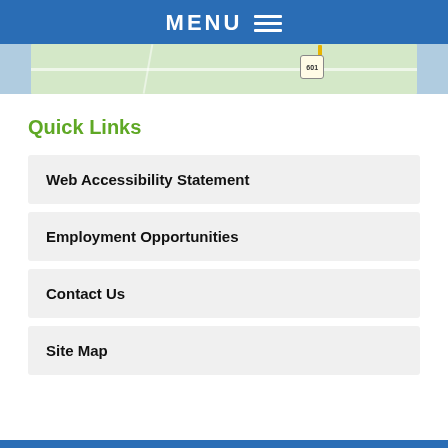MENU
[Figure (map): A map strip showing road intersections with route 601 marker and a location pin, light green land with white roads on blue background.]
Quick Links
Web Accessibility Statement
Employment Opportunities
Contact Us
Site Map